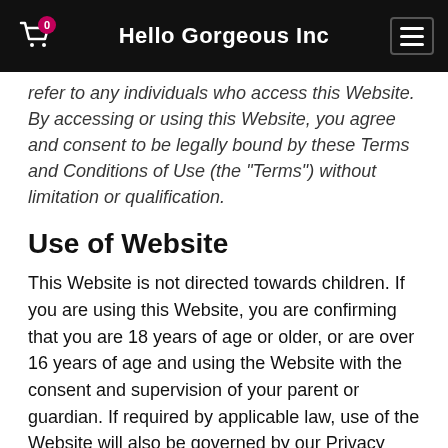Hello Gorgeous Inc
refer to any individuals who access this Website. By accessing or using this Website, you agree and consent to be legally bound by these Terms and Conditions of Use (the “Terms”) without limitation or qualification.
Use of Website
This Website is not directed towards children. If you are using this Website, you are confirming that you are 18 years of age or older, or are over 16 years of age and using the Website with the consent and supervision of your parent or guardian. If required by applicable law, use of the Website will also be governed by our Privacy Policy, which informs users of our data collection practices.
If you fail to comply with any of these Terms, your permission to use the Website automatically terminates. If